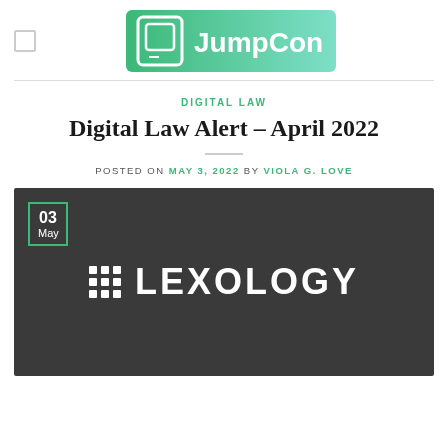[Figure (logo): JumpCon logo — green gradient rectangle with monitor icon and JumpCon text]
DIGITAL LAW
Digital Law Alert – April 2022
POSTED ON MAY 3, 2022 BY VIOLA G. LOVE
[Figure (logo): Dark grey banner with a green-outlined date badge showing 03 May in the top-left and the Lexology logo (3x3 dot grid + LEXOLOGY text in white) centered]